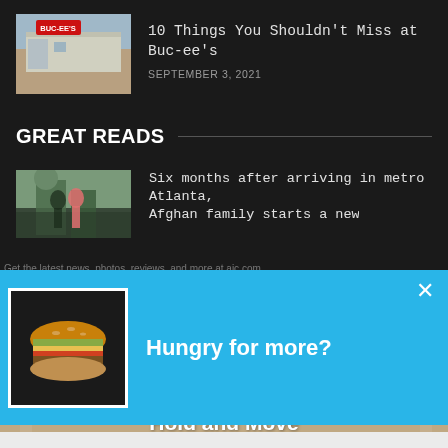[Figure (screenshot): Thumbnail image of Buc-ee's store exterior with red sign]
10 Things You Shouldn't Miss at Buc-ee's
SEPTEMBER 3, 2021
GREAT READS
[Figure (photo): Two people walking toward a venue entrance]
Six months after arriving in metro Atlanta,
[Figure (screenshot): A popup advertisement overlay with a burger image]
Hungry for more?
[Figure (screenshot): Hold and Move app advertisement at bottom with blue figures and tan background]
Hold and Move